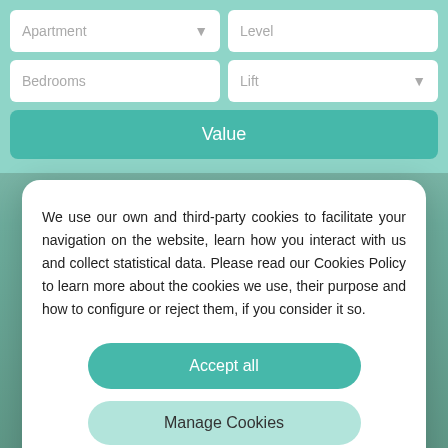[Figure (screenshot): Background image showing a blurred interior room scene with teal/green color overlay]
Apartment ▼
Level
Bedrooms
Lift ▼
Value
We use our own and third-party cookies to facilitate your navigation on the website, learn how you interact with us and collect statistical data. Please read our Cookies Policy to learn more about the cookies we use, their purpose and how to configure or reject them, if you consider it so.
Accept all
Manage Cookies
Reject